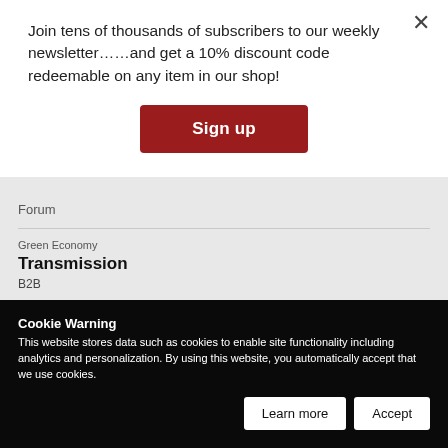Join tens of thousands of subscribers to our weekly newsletter……and get a 10% discount code redeemable on any item in our shop!
Sign up
Forum
Green Economy
Transmission
B2B
Green Economy
Spot on
Cookie Warning
This website stores data such as cookies to enable site functionality including analytics and personalization. By using this website, you automatically accept that we use cookies.
Learn more
Accept